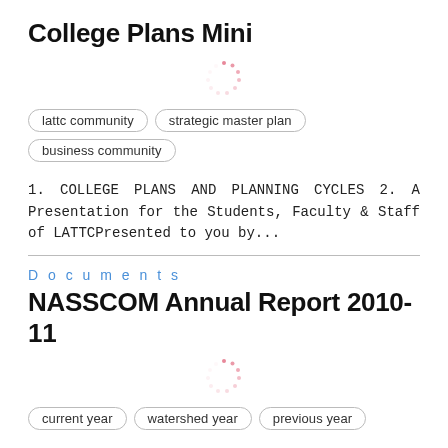College Plans Mini
[Figure (other): Loading spinner graphic (pink dashed circle)]
lattc community
strategic master plan
business community
1. COLLEGE PLANS AND PLANNING CYCLES 2. A Presentation for the Students, Faculty & Staff of LATTCPresented to you by...
Documents
NASSCOM Annual Report 2010-11
[Figure (other): Loading spinner graphic (pink dashed circle)]
current year
watershed year
previous year
Annual Report 2010-11 Executive Council Association Overview Membership Profile The Year in Review Member